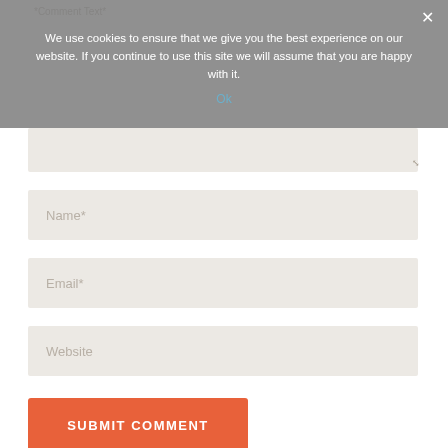[Figure (screenshot): Cookie consent overlay with message: We use cookies to ensure that we give you the best experience on our website. If you continue to use this site we will assume that you are happy with it. With an Ok link and X close button.]
Comment Text*
Name*
Email*
Website
SUBMIT COMMENT